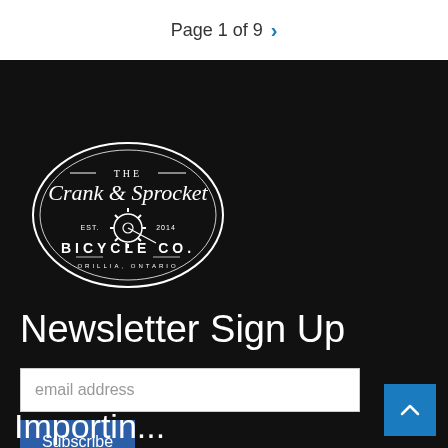Page 1 of 9
[Figure (logo): The Crank & Sprocket Bicycle Co. oval logo in white on black background, Est. 2014, Orillia, Ontario]
Newsletter Sign Up
email address
Subscribe
Importin...